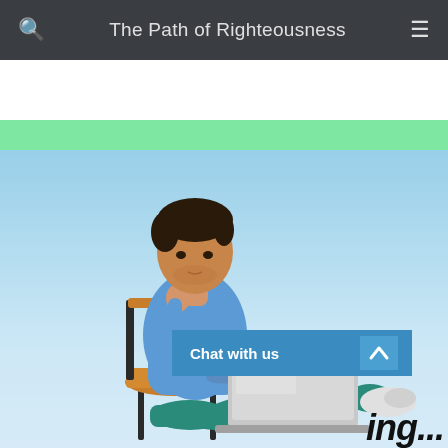The Path of Righteousness
Special Programmes
[Figure (photo): A man sitting on a wooden chair outdoors against a light blue sky, working on a laptop computer while resting his chin thoughtfully on one hand. He is wearing a blue shirt and teal jeans.]
Chat with us
ing...